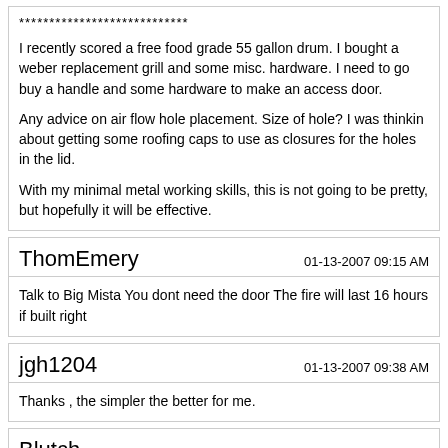****************************

I recently scored a free food grade 55 gallon drum. I bought a weber replacement grill and some misc. hardware. I need to go buy a handle and some hardware to make an access door.

Any advice on air flow hole placement. Size of hole? I was thinkin about getting some roofing caps to use as closures for the holes in the lid.

With my minimal metal working skills, this is not going to be pretty, but hopefully it will be effective.
ThomEmery   01-13-2007 09:15 AM
Talk to Big Mista You dont need the door The fire will last 16 hours if built right
jgh1204   01-13-2007 09:38 AM
Thanks , the simpler the better for me.
Blutch   01-13-2007 09:41 AM